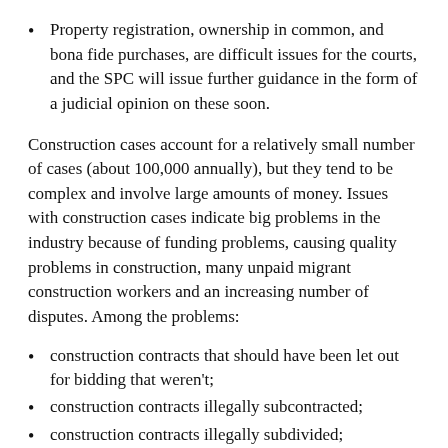Property registration, ownership in common, and bona fide purchases, are difficult issues for the courts, and the SPC will issue further guidance in the form of a judicial opinion on these soon.
Construction cases account for a relatively small number of cases (about 100,000 annually), but they tend to be complex and involve large amounts of money. Issues with construction cases indicate big problems in the industry because of funding problems, causing quality problems in construction, many unpaid migrant construction workers and an increasing number of disputes. Among the problems:
construction contracts that should have been let out for bidding that weren't;
construction contracts illegally subcontracted;
construction contracts illegally subdivided;
contracts in which a contract party should have had a construction qualification or planning permit,